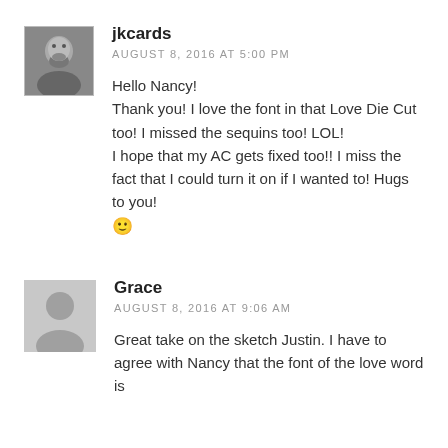[Figure (photo): Small avatar photo of jkcards, a man with a beard, black and white, bordered.]
jkcards
AUGUST 8, 2016 AT 5:00 PM
Hello Nancy!
Thank you! I love the font in that Love Die Cut too! I missed the sequins too! LOL!
I hope that my AC gets fixed too!! I miss the fact that I could turn it on if I wanted to! Hugs to you! 🙂
[Figure (illustration): Generic gray placeholder avatar silhouette for Grace.]
Grace
AUGUST 8, 2016 AT 9:06 AM
Great take on the sketch Justin. I have to agree with Nancy that the font of the love word is